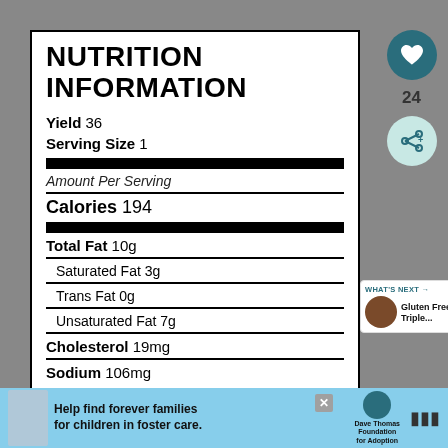NUTRITION INFORMATION
Yield 36
Serving Size 1
Amount Per Serving
Calories 194
| Nutrient | Amount |
| --- | --- |
| Total Fat | 10g |
| Saturated Fat | 3g |
| Trans Fat | 0g |
| Unsaturated Fat | 7g |
| Cholesterol | 19mg |
| Sodium | 106mg |
[Figure (infographic): UI elements: heart/like button with count 24, share button, What's Next panel showing Gluten Free Triple... with cookie thumbnail]
[Figure (infographic): Advertisement banner: Help find forever families for children in foster care. Dave Thomas Foundation for Adoption logo.]